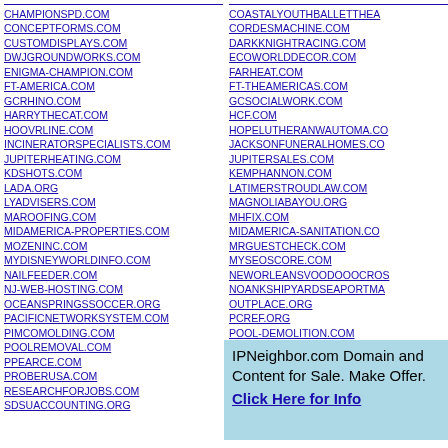CHAMPIONSPD.COM
CONCEPTFORMS.COM
CUSTOMDISPLAYS.COM
DWJGROUNDWORKS.COM
ENIGMA-CHAMPION.COM
FT-AMERICA.COM
GCRHINO.COM
HARRYTHECAT.COM
HOOVRLINE.COM
INCINERATORSPECIALISTS.COM
JUPITERHEATING.COM
KDSHOTS.COM
LADA.ORG
LYADVISERS.COM
MAROOFING.COM
MIDAMERICA-PROPERTIES.COM
MOZENINC.COM
MYDISNEYWORLDINFO.COM
NAILFEEDER.COM
NJ-WEB-HOSTING.COM
OCEANSPRINGSSOCCER.ORG
PACIFICNETWORKSYSTEM.COM
PIMCOMOLDING.COM
POOLREMOVAL.COM
PPEARCE.COM
PROBERUSA.COM
RESEARCHFORJOBS.COM
SDSUACCOUNTING.ORG
COASTALYOUTHBALLETTHEA...
CORDESMACHINE.COM
DARKKNIGHTRACING.COM
ECOWORLDDECOR.COM
FARHEAT.COM
FT-THEAMERICAS.COM
GCSOCIALWORK.COM
HCF.COM
HOPELUTHERANWAUTOMA.CO...
JACKSONFUNERALHOMES.CO...
JUPITERSALES.COM
KEMPHANNON.COM
LATIMERSTROUDLAW.COM
MAGNOLIABAYOU.ORG
MHFIX.COM
MIDAMERICA-SANITATION.CO...
MRGUESTCHECK.COM
MYSEOSCORE.COM
NEWORLEANSVOODOOOCROS...
NOANKSHIPYARDSEAPORTMA...
OUTPLACE.ORG
PCREF.ORG
POOL-DEMOLITION.COM
IPNeighbor.com Domain and Content for Sale. Make Offer. Click Here for Info